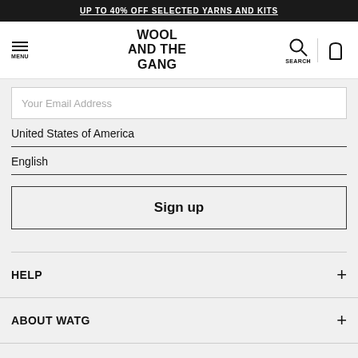UP TO 40% OFF SELECTED YARNS AND KITS
[Figure (logo): Wool and the Gang logo with hamburger menu icon on left, search and cart icons on right]
Your Email Address
United States of America
English
Sign up
HELP
ABOUT WATG
SHOP